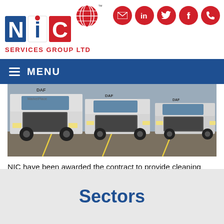[Figure (logo): NIC Services Group Ltd logo with globe icon in red and blue block letters]
[Figure (infographic): Social media icons: email, LinkedIn, Twitter, Facebook, phone — all red circles with white icons]
MENU
[Figure (photo): Row of white DAF trucks (lorries) parked in a depot yard, viewed from the front]
NIC have been awarded the contract to provide cleaning services at the Allied Foods Distribution Centre in Cookstown, Ireland. This is the latest contract to be awarded to NIC by the Musgrave Group and further increases their growing portfolio in Ireland.
Sectors